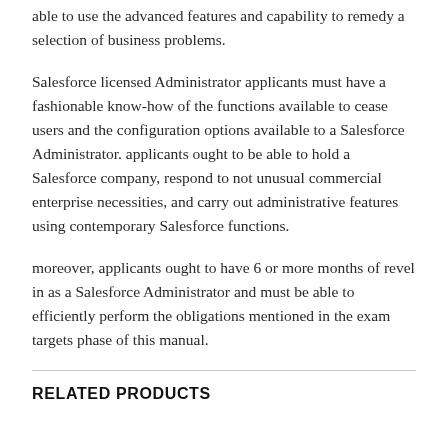able to use the advanced features and capability to remedy a selection of business problems.
Salesforce licensed Administrator applicants must have a fashionable know-how of the functions available to cease users and the configuration options available to a Salesforce Administrator. applicants ought to be able to hold a Salesforce company, respond to not unusual commercial enterprise necessities, and carry out administrative features using contemporary Salesforce functions.
moreover, applicants ought to have 6 or more months of revel in as a Salesforce Administrator and must be able to efficiently perform the obligations mentioned in the exam targets phase of this manual.
RELATED PRODUCTS